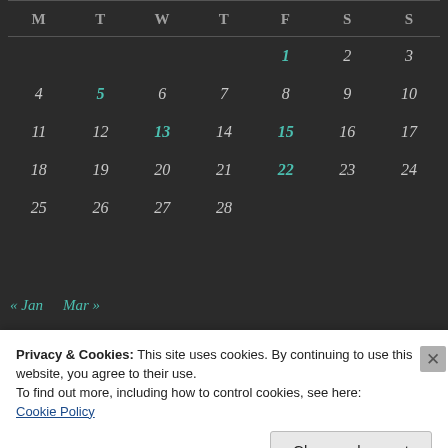| M | T | W | T | F | S | S |
| --- | --- | --- | --- | --- | --- | --- |
|  |  |  |  | 1 | 2 | 3 |
| 4 | 5 | 6 | 7 | 8 | 9 | 10 |
| 11 | 12 | 13 | 14 | 15 | 16 | 17 |
| 18 | 19 | 20 | 21 | 22 | 23 | 24 |
| 25 | 26 | 27 | 28 |  |  |  |
« Jan   Mar »
Privacy & Cookies: This site uses cookies. By continuing to use this website, you agree to their use. To find out more, including how to control cookies, see here: Cookie Policy
Close and accept